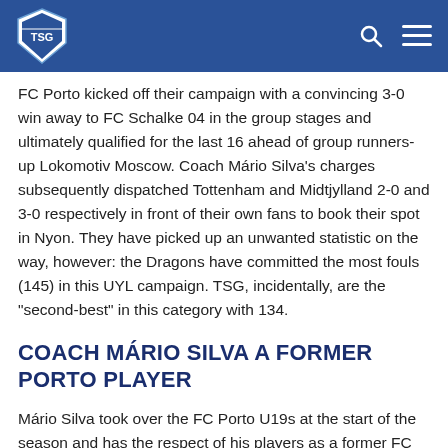TSG Hoffenheim logo, search icon, menu icon
FC Porto kicked off their campaign with a convincing 3-0 win away to FC Schalke 04 in the group stages and ultimately qualified for the last 16 ahead of group runners-up Lokomotiv Moscow. Coach Mário Silva's charges subsequently dispatched Tottenham and Midtjylland 2-0 and 3-0 respectively in front of their own fans to book their spot in Nyon. They have picked up an unwanted statistic on the way, however: the Dragons have committed the most fouls (145) in this UYL campaign. TSG, incidentally, are the "second-best" in this category with 134.
COACH MÁRIO SILVA A FORMER PORTO PLAYER
Mário Silva took over the FC Porto U19s at the start of the season and has the respect of his players as a former FC Porto first-teamer. The former left-back was part of the glory days under the leadership of José Mourinho, who won the